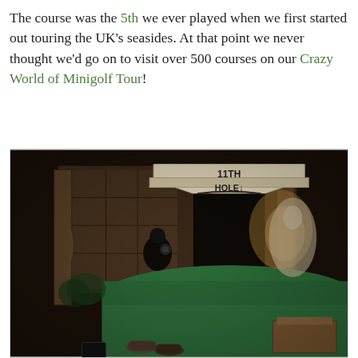The course was the 5th we ever played when we first started out touring the UK's seasides. At that point we never thought we'd go on to visit over 500 courses on our Crazy World of Minigolf Tour!
[Figure (photo): Indoor minigolf course showing the 11th hole with a triangular sign reading '11TH HOLE' with a downward arrow, surrounded by dark atmospheric cave-like decorations, a green putting surface, and wooden structures. A person's feet are visible at the bottom of the image.]